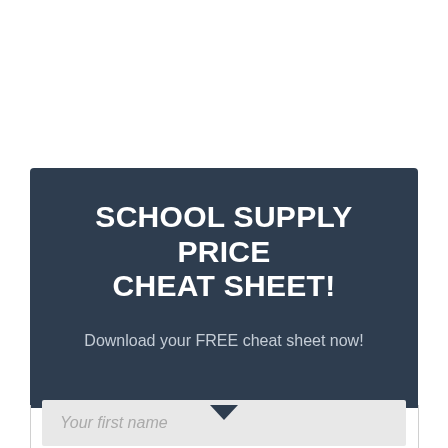SCHOOL SUPPLY PRICE CHEAT SHEET!
Download your FREE cheat sheet now!
Your first name